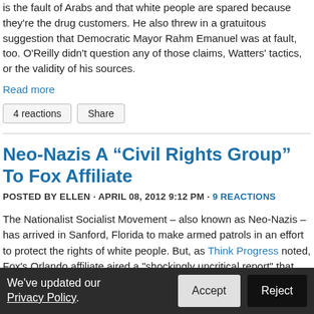is the fault of Arabs and that white people are spared because they're the drug customers. He also threw in a gratuitous suggestion that Democratic Mayor Rahm Emanuel was at fault, too. O'Reilly didn't question any of those claims, Watters' tactics, or the validity of his sources.
Read more
4 reactions  Share
Neo-Nazis A “Civil Rights Group” To Fox Affiliate
POSTED BY ELLEN · APRIL 08, 2012 9:12 PM · 9 REACTIONS
The Nationalist Socialist Movement – also known as Neo-Nazis – has arrived in Sanford, Florida to make armed patrols in an effort to protect the rights of white people. But, as Think Progress noted, Fox’s Orlando affiliate aired a “shockingly uncritical report” that included an introduction saying,
We’ve updated our Privacy Policy.  Accept  Reject